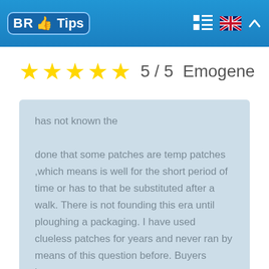BR Tips
★★★★★  5 / 5  Emogene
has not known the done that some patches are temp patches ,which means is well for the short period of time or has to that be substituted after a walk. There is not founding this era until ploughing a packaging. I have used clueless patches for years and never ran by means of this question before. Buyers beware.